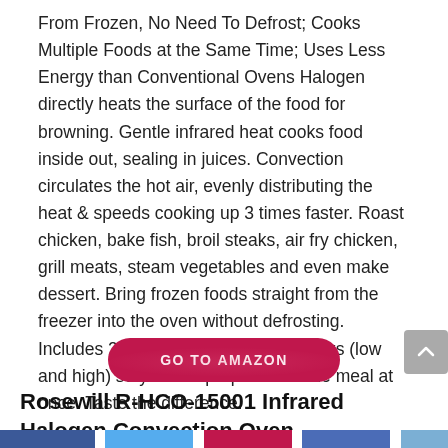From Frozen, No Need To Defrost; Cooks Multiple Foods at the Same Time; Uses Less Energy than Conventional Ovens Halogen directly heats the surface of the food for browning. Gentle infrared heat cooks food inside out, sealing in juices. Convection circulates the hot air, evenly distributing the heat & speeds cooking up 3 times faster. Roast chicken, bake fish, broil steaks, air fry chicken, grill meats, steam vegetables and even make dessert. Bring frozen foods straight from the freezer into the oven without defrosting. Includes 2 stainless steel cooking racks (low and high) so you can prepare a whole meal at once. Taste the difference.
[Figure (other): GO TO AMAZON button — rounded pill-shaped button in crimson/dark pink with white bold uppercase text]
Rosewill R-HCO-15001 Infrared Halogen Convection Oven